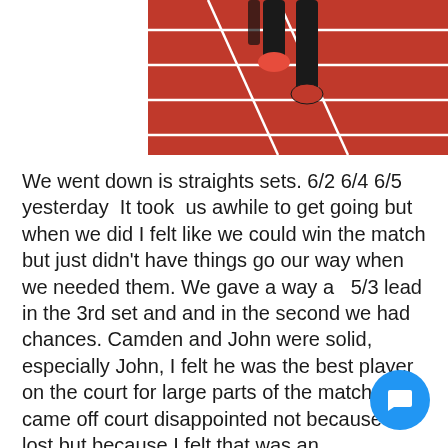[Figure (photo): A person running on a red athletics track, seen from the waist down wearing black shorts and red shoes. White lane lines are visible on the track surface.]
We went down is straights sets. 6/2 6/4 6/5 yesterday  It took  us awhile to get going but when we did I felt like we could win the match but just didn't have things go our way when we needed them. We gave a way a   5/3 lead in the 3rd set and and in the second we had chances. Camden and John were solid, especially John, I felt he was the best player on the court for large parts of the match. I came off court disappointed not because we lost but because I felt that was an opportunity  missed to win a major as when we were out there I